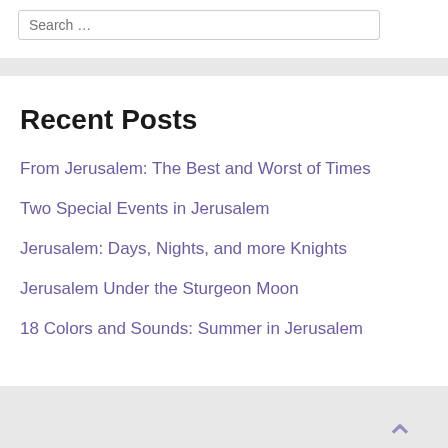Search …
Recent Posts
From Jerusalem: The Best and Worst of Times
Two Special Events in Jerusalem
Jerusalem: Days, Nights, and more Knights
Jerusalem Under the Sturgeon Moon
18 Colors and Sounds: Summer in Jerusalem